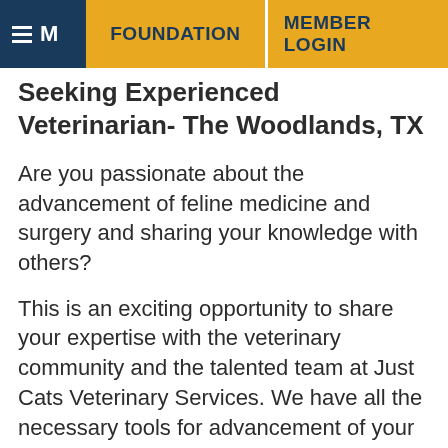≡ M  FOUNDATION  |  MEMBER LOGIN
Seeking Experienced Veterinarian- The Woodlands, TX
Are you passionate about the advancement of feline medicine and surgery and sharing your knowledge with others?
This is an exciting opportunity to share your expertise with the veterinary community and the talented team at Just Cats Veterinary Services. We have all the necessary tools for advancement of your clinical acumen and to grow our practice